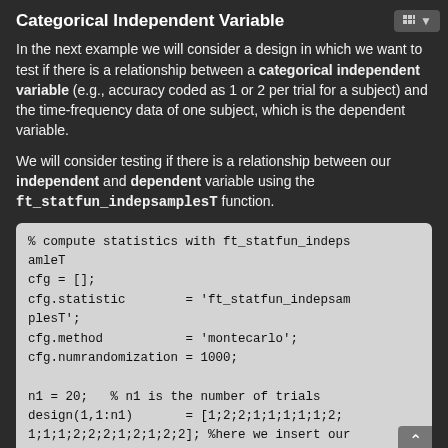Categorical Independent Variable
In the next example we will consider a design in which we want to test if there is a relationship between a categorical independent variable (e.g., accuracy coded as 1 or 2 per trial for a subject) and the time-frequency data of one subject, which is the dependent variable.
We will consider testing if there is a relationship between our independent and dependent variable using the ft_statfun_indepsamplesT function.
% compute statistics with ft_statfun_indepsamleT
cfg = [];
cfg.statistic        = 'ft_statfun_indepsamplesT';
cfg.method           = 'montecarlo';
cfg.numrandomization = 1000;

n1 = 20;   % n1 is the number of trials
design(1,1:n1)       = [1;2;2;1;1;1;1;1;2;
1;1;1;2;2;2;1;2;1;2;2]; %here we insert our